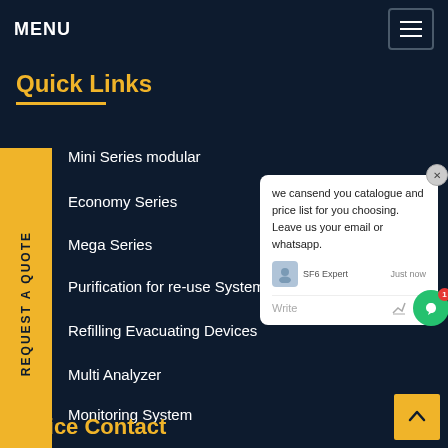MENU
Quick Links
Mini Series modular
Economy Series
Mega Series
Purification for re-use System
Refilling Evacuating Devices
Multi Analyzer
Monitoring System
[Figure (screenshot): Chat popup widget showing message: 'we can send you catalogue and price list for you choosing. Leave us your email or whatsapp.' with SF6 Expert agent label and write field]
Office Contact